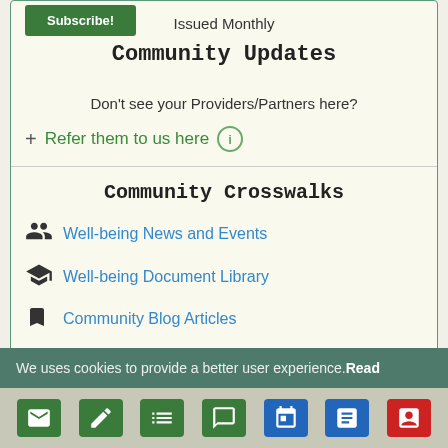Subscribe!
Issued Monthly
Community Updates
Don't see your Providers/Partners here?
Refer them to us here
Community Crosswalks
Well-being News and Events
Well-being Document Library
Community Blog Articles
We uses cookies to provide a better user experience. Read